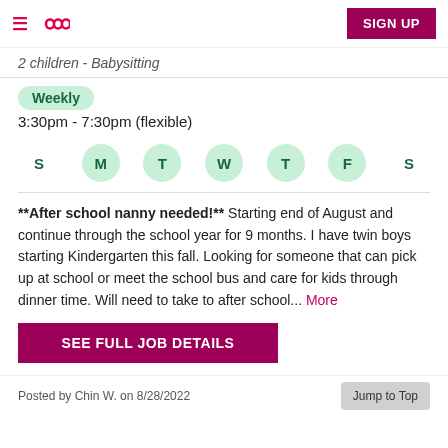≡  ∞  SIGN UP
2 children - Babysitting
Weekly
3:30pm - 7:30pm (flexible)
S  M  T  W  T  F  S — days of week with M, T, W, T, F highlighted
**After school nanny needed!** Starting end of August and continue through the school year for 9 months. I have twin boys starting Kindergarten this fall. Looking for someone that can pick up at school or meet the school bus and care for kids through dinner time. Will need to take to after school... More
SEE FULL JOB DETAILS
Posted by Chin W. on 8/28/2022   Jump to Top